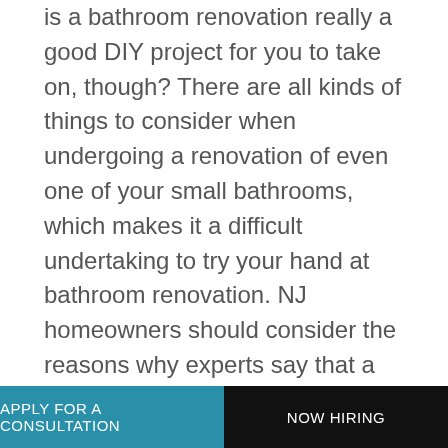is a bathroom renovation really a good DIY project for you to take on, though? There are all kinds of things to consider when undergoing a renovation of even one of your small bathrooms, which makes it a difficult undertaking to try your hand at bathroom renovation. NJ homeowners should consider the reasons why experts say that a bathroom renovation is not a DIY project you should consider.
Functionality Is a Must
If you don't know the ins and outs of how your bathroom functions, you can get in over your head fast during a remodel. What plumbing experience do
APPLY FOR A CONSULTATION   NOW HIRING